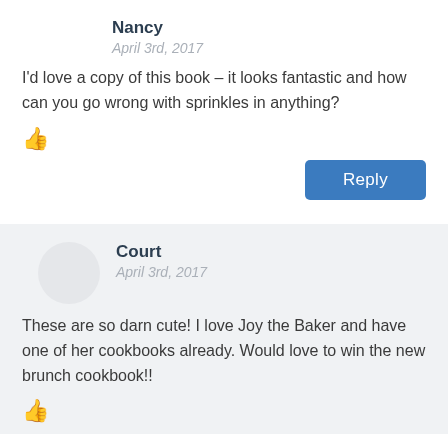Nancy
April 3rd, 2017
I'd love a copy of this book – it looks fantastic and how can you go wrong with sprinkles in anything?
Reply
Court
April 3rd, 2017
These are so darn cute! I love Joy the Baker and have one of her cookbooks already. Would love to win the new brunch cookbook!!